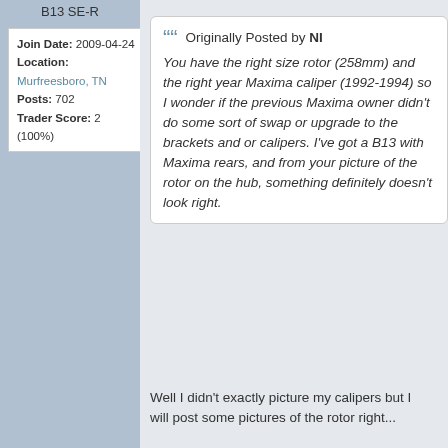B13 SE-R
| Join Date: | 2009-04-24 |
| Location: | Murfreesboro, TN |
| Posts: | 702 |
| Trader Score: | 2 (100%) |
Originally Posted by NI
You have the right size rotor (258mm) and the right year Maxima caliper (1992-1994) so I wonder if the previous Maxima owner didn't do some sort of swap or upgrade to the brackets and or calipers. I've got a B13 with Maxima rears, and from your picture of the rotor on the hub, something definitely doesn't look right.
Well I didn't exactly picture my calipers but I will post some pictures of the rotor right...